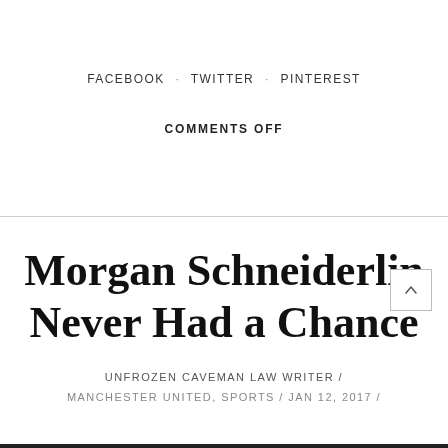FACEBOOK · TWITTER · PINTEREST
COMMENTS OFF
Morgan Schneiderlin Never Had a Chance
UNFROZEN CAVEMAN LAW WRITER /
MANCHESTER UNITED, SPORTS / JAN 12, 2017 /